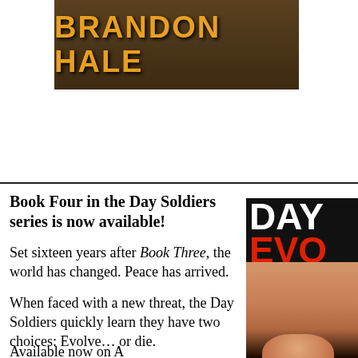[Figure (photo): Book cover top portion showing author name BRANDON HALE in orange/gold text on a dark brown textured background]
Book Four in the Day Soldiers series is now available!
Set sixteen years after Book Three, the world has changed. Peace has arrived.
When faced with a new threat, the Day Soldiers quickly learn they have two choices: Evolve… or die.
Available now on Amazon
[Figure (photo): Book cover showing DAY in white text and EVO in red text on a black background with a woman's face below]